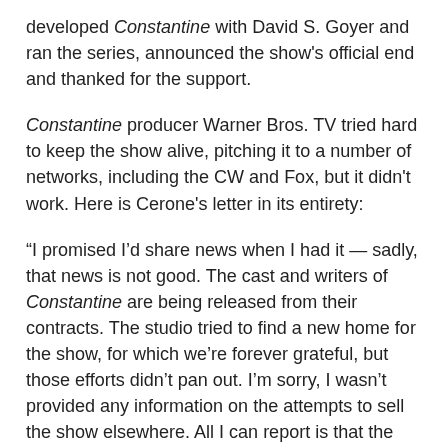developed Constantine with David S. Goyer and ran the series, announced the show's official end and thanked for the support.
Constantine producer Warner Bros. TV tried hard to keep the show alive, pitching it to a number of networks, including the CW and Fox, but it didn't work. Here is Cerone's letter in its entirety:
“I promised I’d share news when I had it — sadly, that news is not good. The cast and writers of Constantine are being released from their contracts. The studio tried to find a new home for the show, for which we’re forever grateful, but those efforts didn’t pan out. I’m sorry, I wasn’t provided any information on the attempts to sell the show elsewhere. All I can report is that the show is over.